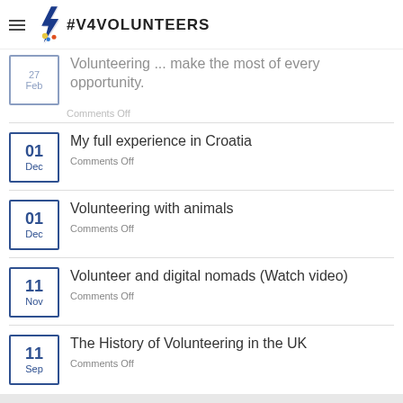#V4VOLUNTEERS
Volunteering ... make the most of every opportunity. | Comments Off
My full experience in Croatia | 01 Dec | Comments Off
Volunteering with animals | 01 Dec | Comments Off
Volunteer and digital nomads (Watch video) | 11 Nov | Comments Off
The History of Volunteering in the UK | 11 Sep | Comments Off